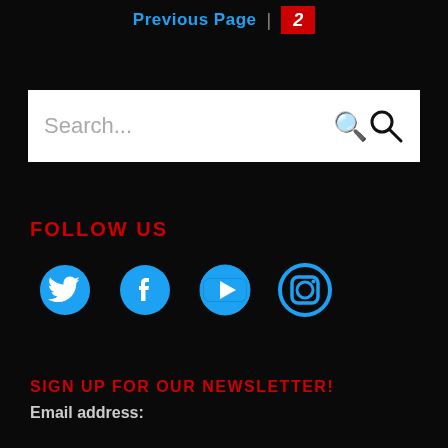Previous Page | 2
[Figure (screenshot): Search bar with placeholder text 'Search...' and a magnifying glass icon on white background]
FOLLOW US
[Figure (infographic): Social media icons: Twitter, Facebook, YouTube, Instagram — all in blue on black background]
SIGN UP FOR OUR NEWSLETTER!
Email address: